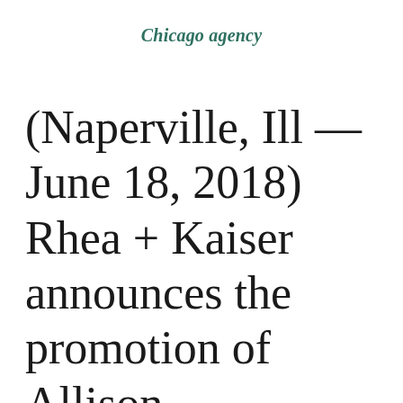Chicago agency
(Naperville, Ill — June 18, 2018) Rhea + Kaiser announces the promotion of Allison Saegebrecht to